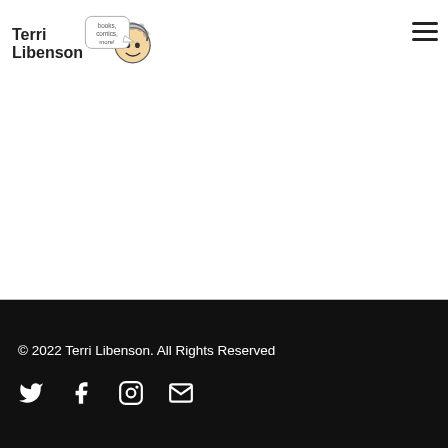Terri Libenson — books, comics, more!
.responsive-block-editor-addons-block-2ea85a74-e4f2-4a90-a390-bd7e1d22-889c.responsive-block-editor-addons-block-addons-block. content-wrap { text-align: center; }
© 2022 Terri Libenson. All Rights Reserved